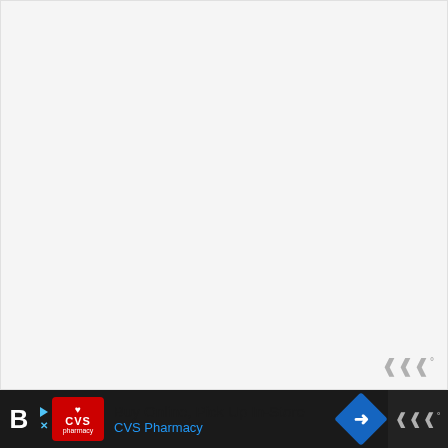[Figure (screenshot): Large light gray blank/loading content area with WW logo watermark in bottom right corner]
[Figure (infographic): Dark bottom navigation bar with CVS Pharmacy advertisement: 'Buy Online, Pick Up In-Store / CVS Pharmacy' with CVS logo, navigation arrow icon, and WW logo on right]